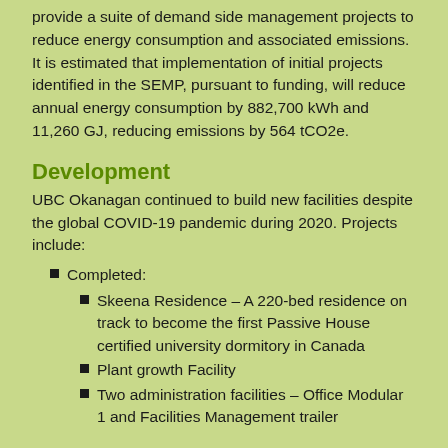provide a suite of demand side management projects to reduce energy consumption and associated emissions. It is estimated that implementation of initial projects identified in the SEMP, pursuant to funding, will reduce annual energy consumption by 882,700 kWh and 11,260 GJ, reducing emissions by 564 tCO2e.
Development
UBC Okanagan continued to build new facilities despite the global COVID-19 pandemic during 2020. Projects include:
Completed:
Skeena Residence – A 220-bed residence on track to become the first Passive House certified university dormitory in Canada
Plant growth Facility
Two administration facilities – Office Modular 1 and Facilities Management trailer